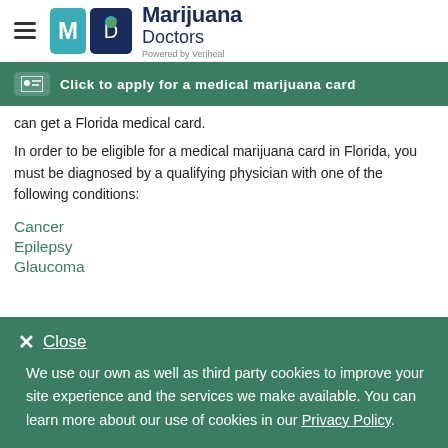[Figure (logo): Marijuana Doctors logo with MD icon and 'Powered by Veriheal' tagline]
Click to apply for a medical marijuana card
can get a Florida medical card.
In order to be eligible for a medical marijuana card in Florida, you must be diagnosed by a qualifying physician with one of the following conditions:
Cancer
Epilepsy
Glaucoma
Close
We use our own as well as third party cookies to improve your site experience and the services we make available. You can learn more about our use of cookies in our Privacy Policy.